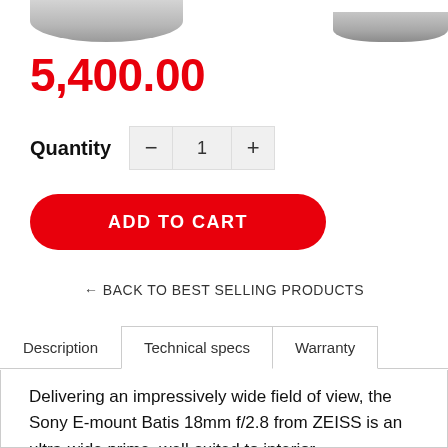[Figure (photo): Product images of camera lenses at the top of the page, partially cropped]
5,400.00
Quantity  −  1  +
ADD TO CART
← BACK TO BEST SELLING PRODUCTS
Description   Technical specs   Warranty
Delivering an impressively wide field of view, the Sony E-mount Batis 18mm f/2.8 from ZEISS is an ultra-wide prime, well-suited to interior, architectural, landscape, and astrophotography applications. Within the Distagon optical design, this lens uses a series of aspherical and